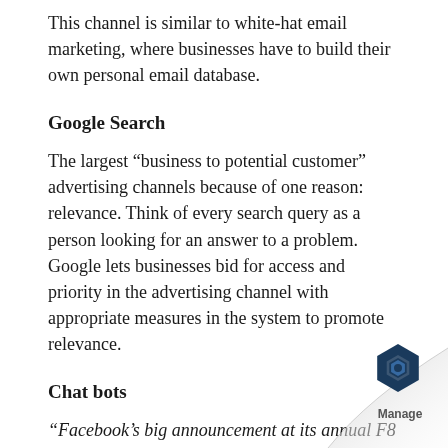This channel is similar to white-hat email marketing, where businesses have to build their own personal email database.
Google Search
The largest “business to potential customer” advertising channels because of one reason: relevance. Think of every search query as a person looking for an answer to a problem. Google lets businesses bid for access and priority in the advertising channel with appropriate measures in the system to promote relevance.
Chat bots
“Facebook’s big announcement at its annual F8 Developer conference, was to make Messenger 900-million-user messaging app into a full-fl
[Figure (logo): Manage logo with hexagonal icon in dark blue, bottom right corner with page curl effect]